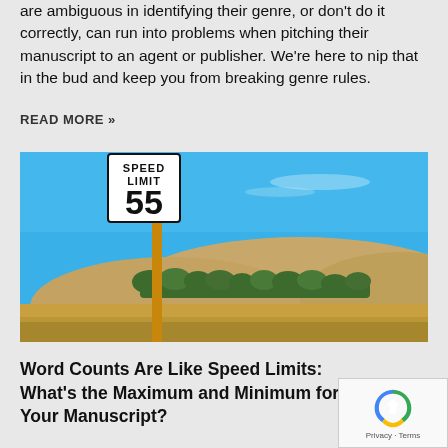are ambiguous in identifying their genre, or don't do it correctly, can run into problems when pitching their manuscript to an agent or publisher. We're here to nip that in the bud and keep you from breaking genre rules.
READ MORE »
[Figure (photo): A Speed Limit 55 road sign on a wooden post against a clear blue sky with dry golden hills and trees in the background.]
Word Counts Are Like Speed Limits: What's the Maximum and Minimum for Your Manuscript?